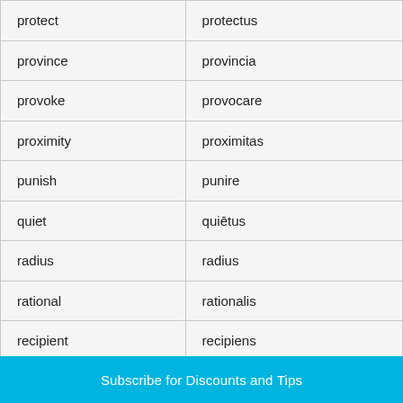| protect | protectus |
| province | provincia |
| provoke | provocare |
| proximity | proximitas |
| punish | punire |
| quiet | quiētus |
| radius | radius |
| rational | rationalis |
| recipient | recipiens |
| reduce | reducere |
Subscribe for Discounts and Tips